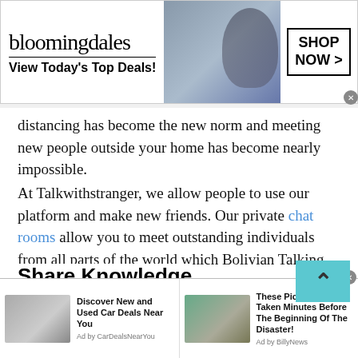[Figure (screenshot): Bloomingdale's advertisement banner: logo text 'bloomingdales', tagline 'View Today's Top Deals!', image of woman with large hat, and 'SHOP NOW >' button in a box.]
distancing has become the new norm and meeting new people outside your home has become nearly impossible.
At Talkwithstranger, we allow people to use our platform and make new friends. Our private chat rooms allow you to meet outstanding individuals from all parts of the world which Bolivian Talking much easier.
Share Knowledge
Since you meet new people from any random part of the
[Figure (screenshot): Bottom ad bar with two ad units: 'Discover New and Used Car Deals Near You' by CarDealsNearYou, and 'These Pictures Was Taken Minutes Before The Beginning Of The Disaster!' by BillyNews.]